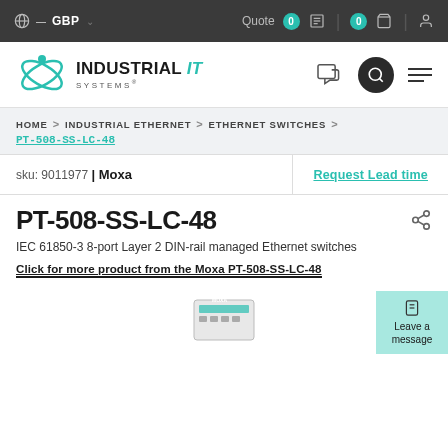GBP | Quote 0 | 0 | [user icon]
[Figure (logo): Industrial IT Systems logo with teal orbital graphic]
HOME > INDUSTRIAL ETHERNET > ETHERNET SWITCHES > PT-508-SS-LC-48
sku: 9011977 | Moxa
Request Lead time
PT-508-SS-LC-48
IEC 61850-3 8-port Layer 2 DIN-rail managed Ethernet switches
Click for more product from the Moxa PT-508-SS-LC-48
[Figure (photo): Partial view of Moxa PT-508-SS-LC-48 industrial Ethernet switch product photo]
Leave a message